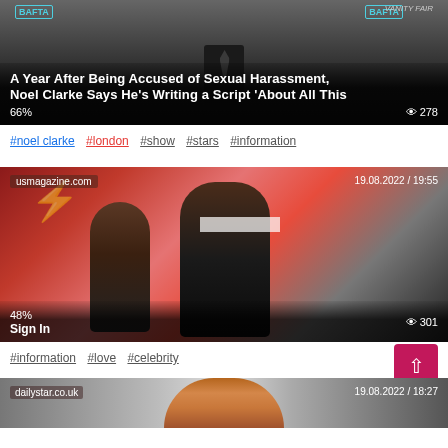[Figure (photo): News article card: man in suit at event (Noel Clarke). Overlay title: 'A Year After Being Accused of Sexual Harassment, Noel Clarke Says He's Writing a Script "About All This"'. Meta shows 66% and 278 views.]
#noel clarke  #london  #show  #stars  #information
[Figure (photo): News article card from usmagazine.com dated 19.08.2022 / 19:55. Photo of a young woman and a man (Dwyane Wade) on a red/pink background. Overlay shows 48% / Sign In and 301 views.]
#information  #love  #celebrity
[Figure (photo): Partial news article card from dailystar.co.uk dated 19.08.2022 / 18:27. Partially visible at bottom of page.]